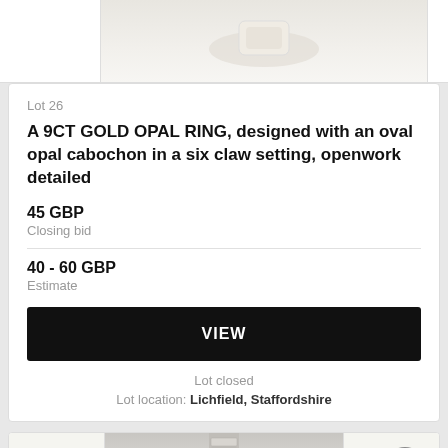[Figure (photo): Top portion of a product image showing a white/cream colored ring on a light background]
Lot 26
A 9CT GOLD OPAL RING, designed with an oval opal cabochon in a six claw setting, openwork detailed
45 GBP
Closing bid
40 - 60 GBP
Estimate
VIEW
Lot closed
Lot location: Lichfield, Staffordshire
[Figure (photo): Bottom portion showing a metallic watch bracelet/strap on a light background]